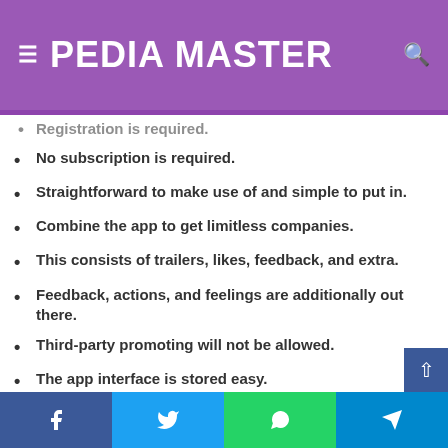PEDIA MASTER
Registration is required.
No subscription is required.
Straightforward to make use of and simple to put in.
Combine the app to get limitless companies.
This consists of trailers, likes, feedback, and extra.
Feedback, actions, and feelings are additionally out there.
Third-party promoting will not be allowed.
The app interface is stored easy.
The way to Obtain and Set up This APK on Android?
Facebook | Twitter | WhatsApp | Telegram